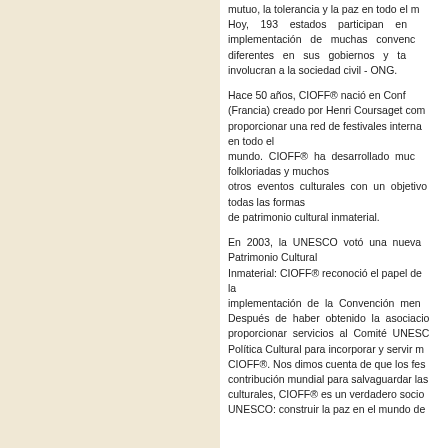mutuo, la tolerancia y la paz en todo el m... Hoy, 193 estados participan en... implementación de muchas convenc... diferentes en sus gobiernos y ta... involucran a la sociedad civil - ONG.

Hace 50 años, CIOFF® nació en Conf... (Francia) creado por Henri Coursaget com... proporcionar una red de festivales interna... en todo el mundo. CIOFF® ha desarrollado muc... folkloriadas y muchos otros eventos culturales con un objetivo... todas las formas de patrimonio cultural inmaterial.

En 2003, la UNESCO votó una nueva... Patrimonio Cultural Inmaterial: CIOFF® reconoció el papel de... la implementación de la Convención men... Después de haber obtenido la asociacio... proporcionar servicios al Comité UNESC... Política Cultural para incorporar y servir m... CIOFF®. Nos dimos cuenta de que los fes... contribución mundial para salvaguardar las... culturales, CIOFF® es un verdadero socio... UNESCO: construir la paz en el mundo de...